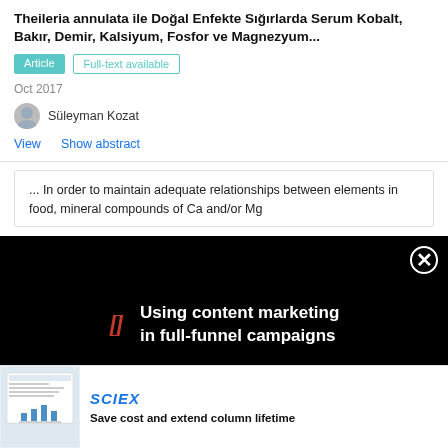Theileria annulata ile Doğal Enfekte Sığırlarda Serum Kobalt, Bakır, Demir, Kalsiyum, Fosfor ve Magnezyum...
Article
Full-text available
Oct 2017
Süleyman Kozat
View   Show abstract
... In order to maintain adequate relationships between elements in food, mineral compounds of Ca and/or Mg
[] Using content marketing in full-funnel campaigns
[Figure (screenshot): Advertisement thumbnail showing a scientific document with bar chart]
SCIEX
Save cost and extend column lifetime